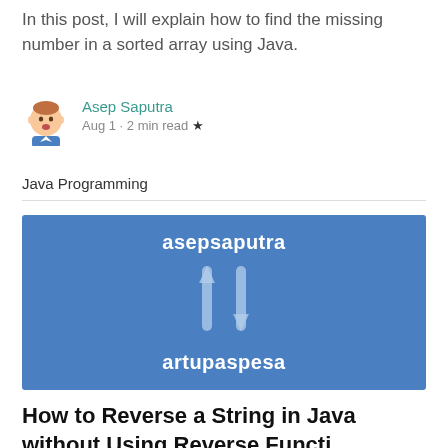In this post, I will explain how to find the missing number in a sorted array using Java.
Asep Saputra
Aug 1 · 2 min read ★
Java Programming
[Figure (illustration): Blue banner with text 'asepsaputra' at top, stylized arrow/cursor symbol in the middle, and 'artupaspesa' at the bottom, on a blue background]
How to Reverse a String in Java without Using Reverse Functi...